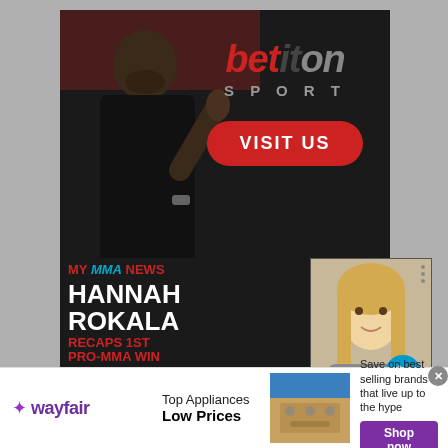[Figure (photo): Betiton Sport advertisement banner featuring a man in a black shirt pointing at the camera with the Betiton Sport logo and a red VISIT US button on a dark background]
[Figure (photo): My MMA News overlay card with headline HANNAH ROKALA RECAPS 1st PRO-MMA WIN]
[Figure (photo): Video thumbnail showing a blonde woman, with a blue play arrow button, on the right side]
[Figure (photo): Wayfair advertisement banner at the bottom: Top Appliances Low Prices with image of a stainless steel range, Save on best selling brands that live up to the hype, Shop now button in purple]